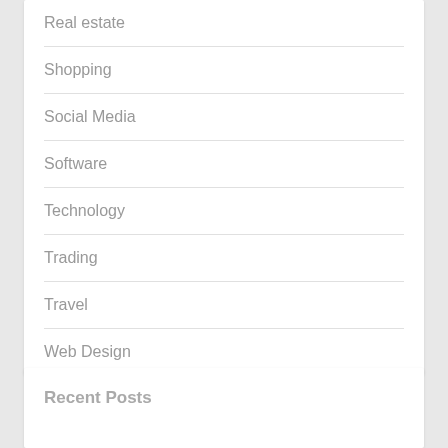Real estate
Shopping
Social Media
Software
Technology
Trading
Travel
Web Design
Recent Posts